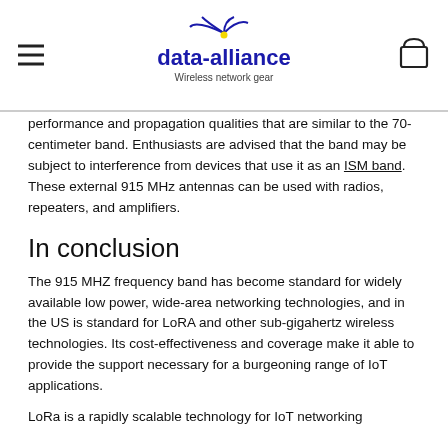data-alliance — Wireless network gear
performance and propagation qualities that are similar to the 70-centimeter band. Enthusiasts are advised that the band may be subject to interference from devices that use it as an ISM band. These external 915 MHz antennas can be used with radios, repeaters, and amplifiers.
In conclusion
The 915 MHZ frequency band has become standard for widely available low power, wide-area networking technologies, and in the US is standard for LoRA and other sub-gigahertz wireless technologies. Its cost-effectiveness and coverage make it able to provide the support necessary for a burgeoning range of IoT applications.
LoRa is a rapidly scalable technology for IoT networking